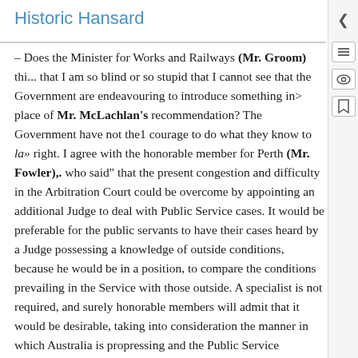Historic Hansard
– Does the Minister for Works and Railways (Mr. Groom) think that I am so blind or so stupid that I cannot see that the Government are endeavouring to introduce something in> place of Mr. McLachlan's recommendation? The Government have not the1 courage to do what they know to la» right. I agree with the honorable member for Perth (Mr. Fowler),. who said" that the present congestion and difficulty in the Arbitration Court could be overcome by appointing an additional Judge to deal with Public Service cases. It would be preferable for the public servants to have their cases heard by a Judge possessing a knowledge of outside conditions, because he would be in a position, to compare the conditions prevailing in the Service with those outside. A specialist is not required, and surely honorable members will admit that it would be desirable, taking into consideration the manner in which Australia is propressing and the Public Service expanding, that all similar callings and occupations should be dealt with by the one Court. I would